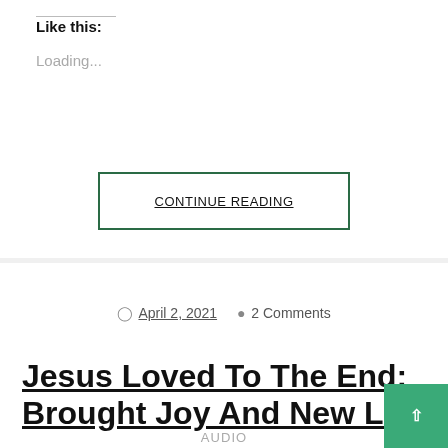Like this:
Loading...
CONTINUE READING
April 2, 2021  2 Comments
Jesus Loved To The End: Brought Joy And New Life
AUDIO